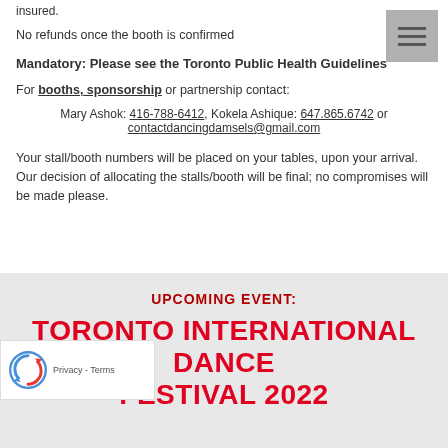insured.
No refunds once the booth is confirmed
Mandatory: Please see the Toronto Public Health Guidelines
For booths, sponsorship or partnership contact:
Mary Ashok: 416-788-6412, Kokela Ashique: 647.865.6742 or contactdancingdamsels@gmail.com
Your stall/booth numbers will be placed on your tables, upon your arrival. Our decision of allocating the stalls/booth will be final; no compromises will be made please.
UPCOMING EVENT:
TORONTO INTERNATIONAL DANCE FESTIVAL 2022